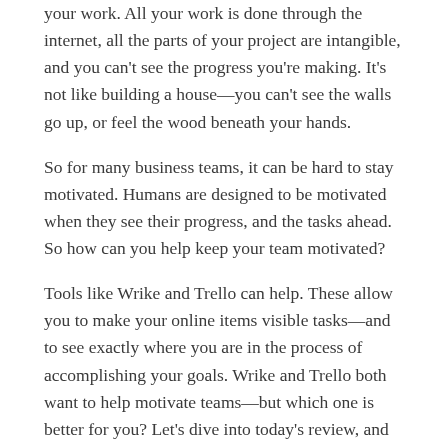your work. All your work is done through the internet, all the parts of your project are intangible, and you can't see the progress you're making. It's not like building a house—you can't see the walls go up, or feel the wood beneath your hands.
So for many business teams, it can be hard to stay motivated. Humans are designed to be motivated when they see their progress, and the tasks ahead. So how can you help keep your team motivated?
Tools like Wrike and Trello can help. These allow you to make your online items visible tasks—and to see exactly where you are in the process of accomplishing your goals. Wrike and Trello both want to help motivate teams—but which one is better for you? Let's dive into today's review, and compare their price, ease of use, and customizations for your team so you can see which one is right for you!
Wrike vs. Trello: Meet the Sites